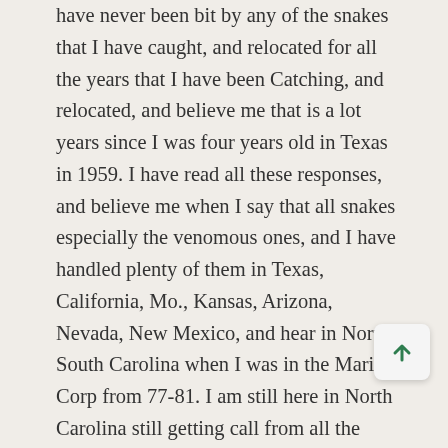have never been bit by any of the snakes that I have caught, and relocated for all the years that I have been Catching, and relocated, and believe me that is a lot years since I was four years old in Texas in 1959. I have read all these responses, and believe me when I say that all snakes especially the venomous ones, and I have handled plenty of them in Texas, California, Mo., Kansas, Arizona, Nevada, New Mexico, and hear in North, South Carolina when I was in the Marine Corp from 77-81. I am still here in North Carolina still getting call from all the states around Me even up in West Virginia, and Virginia, and I have heard about so many Folklore that I could swim in, and that is all they are. I advise my customers to never touch a snake because I run into people who don't know one snake from ano I will tell everybody else the same thing 1. if you see
[Figure (other): Scroll-to-top button with upward arrow icon in the bottom-right corner]